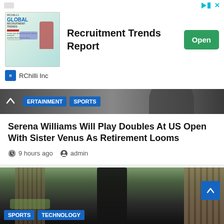[Figure (illustration): Advertisement banner for RChilli Inc - Recruitment Trends Report with Open button]
[Figure (photo): Navigation bar with ENTERTAINMENT and SPORTS tags over a dark photo background with up chevron]
Serena Williams Will Play Doubles At US Open With Sister Venus As Retirement Looms
9 hours ago   admin
[Figure (photo): Person holding machinery equipment in a backyard with wooden fence. SPORTS and TECHNOLOGY tags at bottom.]